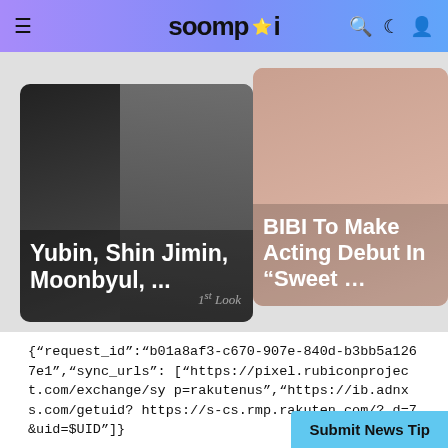soompi
[Figure (photo): Two article cards on a grey background. Left card: dark photo with text 'Yubin, Shin Jimin, Moonbyul, ...' and '1st Look' watermark. Right card: light skin-tone photo with text 'BIBI To Make Acting Debut In "Sweet ..."']
{"request_id":"b01a8af3-c670-907e-840d-b3bb5a1267e1","sync_urls":["https://pixel.rubiconproject.com/exchange/syp=rakutenus","https://ib.adnxs.com/getuid?https://s-cs.rmp.rakuten.com/?d=7&uid=$UID"]}